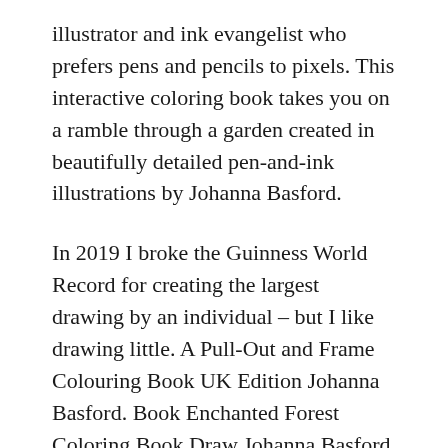illustrator and ink evangelist who prefers pens and pencils to pixels. This interactive coloring book takes you on a ramble through a garden created in beautifully detailed pen-and-ink illustrations by Johanna Basford.
In 2019 I broke the Guinness World Record for creating the largest drawing by an individual – but I like drawing little. A Pull-Out and Frame Colouring Book UK Edition Johanna Basford. Book Enchanted Forest Coloring Book Draw Johanna Basford Color D.
48 out of 5 stars 2443. Basfords works can be